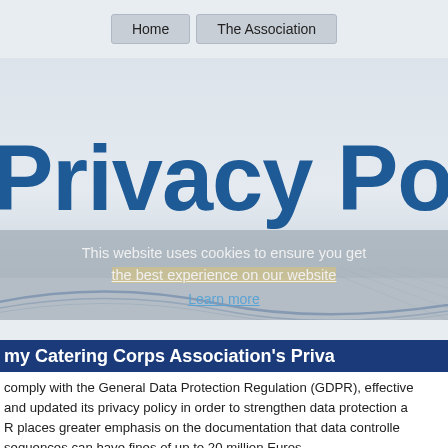Home    The Association
Privacy Policy
This website uses cookies to ensure you get the best experience on our website
Learn more
my Catering Corps Association's Privacy
comply with the General Data Protection Regulation (GDPR), effective and updated its privacy policy in order to strengthen data protection a R places greater emphasis on the documentation that data controlle sequences can have fines of up to 20 million Euros